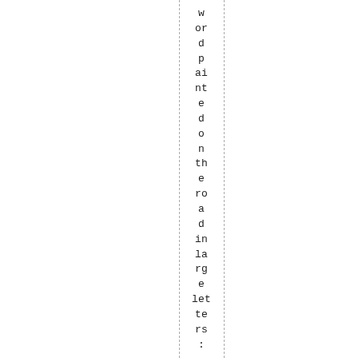word painted on the road in large letters: B-A-I-L-O-